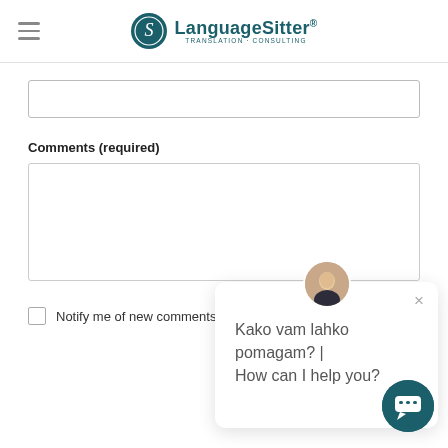LanguageSitter
(form input field - partially visible)
Comments (required)
(comments textarea)
Notify me of new comments to this post by email
[Figure (screenshot): Chat popup widget with avatar photo of a woman, close button (×), and text: 'Kako vam lahko pomagam? | How can I help you?']
[Figure (other): Floating dark teal chat button with chat icon, bottom right corner]